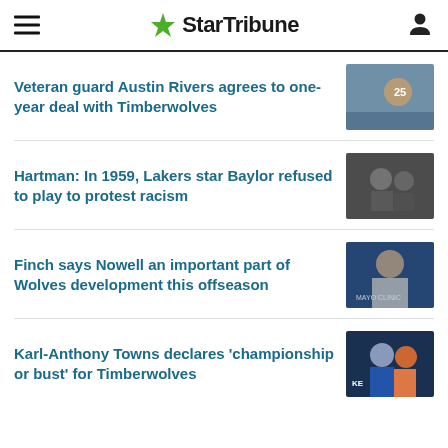StarTribune
Veteran guard Austin Rivers agrees to one-year deal with Timberwolves
[Figure (photo): Basketball player wearing jersey number 25, leaning over on court]
Hartman: In 1959, Lakers star Baylor refused to play to protest racism
[Figure (photo): Black and white photo of two people, historical image]
Finch says Nowell an important part of Wolves development this offseason
[Figure (photo): Man in suit smiling, appears to be at a press conference]
Karl-Anthony Towns declares 'championship or bust' for Timberwolves
[Figure (photo): Basketball players with Timberwolves branding]